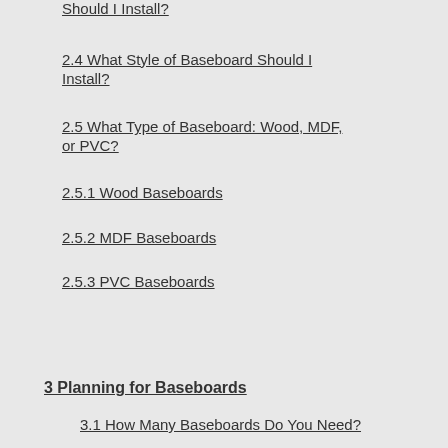Should I Install?
2.4 What Style of Baseboard Should I Install?
2.5 What Type of Baseboard: Wood, MDF, or PVC?
2.5.1 Wood Baseboards
2.5.2 MDF Baseboards
2.5.3 PVC Baseboards
3 Planning for Baseboards
3.1 How Many Baseboards Do You Need?